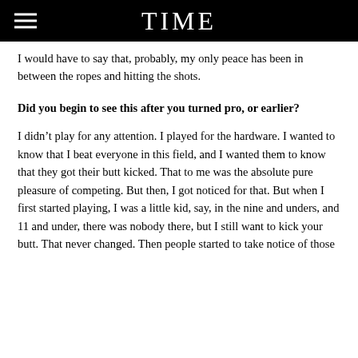TIME
I would have to say that, probably, my only peace has been in between the ropes and hitting the shots.
Did you begin to see this after you turned pro, or earlier?
I didn't play for any attention. I played for the hardware. I wanted to know that I beat everyone in this field, and I wanted them to know that they got their butt kicked. That to me was the absolute pure pleasure of competing. But then, I got noticed for that. But when I first started playing, I was a little kid, say, in the nine and unders, and 11 and under, there was nobody there, but I still want to kick your butt. That never changed. Then people started to take notice of those